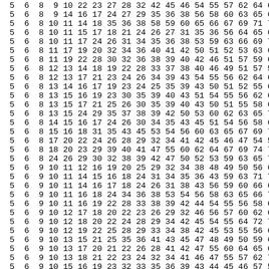| 5 | 6 | 8 | 9 | 10 | 22 | 23 | 27 | 28 | 32 | 42 | 45 | 46 | 54 | 55 | 57 | 62 | 64 | 69 |
| 5 | 6 | 8 | 9 | 14 | 16 | 17 | 24 | 27 | 29 | 35 | 36 | 38 | 56 | 58 | 60 | 63 | 65 | 66 |
| 5 | 6 | 8 | 10 | 11 | 14 | 18 | 35 | 36 | 38 | 58 | 59 | 60 | 65 | 66 | 67 | 69 | 71 | 74 |
| 5 | 6 | 8 | 10 | 11 | 15 | 17 | 18 | 21 | 24 | 26 | 27 | 31 | 35 | 36 | 56 | 64 | 65 | 66 |
| 5 | 6 | 8 | 10 | 11 | 17 | 24 | 26 | 31 | 34 | 35 | 36 | 38 | 53 | 59 | 63 | 66 | 69 | 71 |
| 5 | 6 | 8 | 11 | 17 | 19 | 20 | 32 | 34 | 36 | 40 | 41 | 42 | 50 | 51 | 52 | 53 | 63 | 66 |
| 5 | 6 | 8 | 11 | 19 | 22 | 28 | 30 | 32 | 36 | 38 | 39 | 40 | 42 | 46 | 51 | 57 | 59 | 66 |
| 5 | 6 | 8 | 12 | 13 | 14 | 18 | 19 | 22 | 28 | 33 | 37 | 38 | 40 | 46 | 49 | 51 | 57 | 58 |
| 5 | 6 | 8 | 12 | 13 | 17 | 21 | 23 | 24 | 26 | 34 | 39 | 43 | 54 | 55 | 56 | 62 | 64 | 69 |
| 5 | 6 | 8 | 13 | 14 | 16 | 17 | 19 | 23 | 24 | 25 | 35 | 39 | 43 | 50 | 51 | 52 | 55 | 64 |
| 5 | 6 | 8 | 13 | 15 | 16 | 19 | 23 | 30 | 35 | 39 | 40 | 43 | 51 | 54 | 55 | 56 | 62 | 64 |
| 5 | 6 | 8 | 13 | 15 | 17 | 21 | 25 | 26 | 30 | 35 | 39 | 40 | 43 | 50 | 51 | 55 | 58 | 64 |
| 5 | 6 | 8 | 13 | 15 | 24 | 29 | 35 | 37 | 38 | 39 | 42 | 50 | 53 | 60 | 62 | 63 | 65 | 70 |
| 5 | 6 | 8 | 14 | 15 | 16 | 17 | 24 | 26 | 30 | 34 | 35 | 43 | 45 | 51 | 54 | 56 | 58 | 65 |
| 5 | 6 | 8 | 15 | 16 | 18 | 31 | 35 | 43 | 45 | 53 | 54 | 56 | 60 | 63 | 65 | 67 | 69 | 74 |
| 5 | 6 | 8 | 17 | 20 | 22 | 24 | 26 | 28 | 29 | 32 | 34 | 41 | 42 | 45 | 46 | 47 | 54 | 57 |
| 5 | 6 | 8 | 18 | 20 | 23 | 29 | 39 | 40 | 41 | 47 | 55 | 60 | 62 | 64 | 67 | 69 | 74 | 75 |
| 5 | 6 | 8 | 24 | 26 | 29 | 30 | 32 | 38 | 39 | 42 | 47 | 50 | 52 | 53 | 59 | 63 | 65 | 73 |
| 5 | 6 | 9 | 10 | 11 | 12 | 16 | 19 | 20 | 25 | 29 | 32 | 34 | 38 | 48 | 49 | 50 | 56 | 61 |
| 5 | 6 | 9 | 10 | 11 | 14 | 15 | 16 | 18 | 24 | 31 | 34 | 35 | 36 | 43 | 59 | 63 | 71 | 74 |
| 5 | 6 | 9 | 10 | 11 | 14 | 16 | 17 | 18 | 24 | 26 | 31 | 38 | 43 | 56 | 59 | 60 | 66 | 67 |
| 5 | 6 | 9 | 10 | 11 | 16 | 18 | 24 | 34 | 36 | 38 | 53 | 54 | 56 | 58 | 63 | 65 | 66 | 74 |
| 5 | 6 | 9 | 10 | 11 | 16 | 19 | 22 | 28 | 33 | 38 | 39 | 42 | 44 | 54 | 55 | 56 | 58 | 64 |
| 5 | 6 | 9 | 10 | 12 | 17 | 18 | 20 | 22 | 23 | 26 | 29 | 32 | 46 | 56 | 57 | 60 | 62 | 67 |
| 5 | 6 | 9 | 10 | 12 | 18 | 20 | 22 | 24 | 28 | 29 | 34 | 42 | 45 | 54 | 55 | 64 | 72 | 74 |
| 5 | 6 | 9 | 10 | 12 | 19 | 22 | 25 | 28 | 29 | 33 | 34 | 38 | 42 | 45 | 53 | 55 | 56 | 61 |
| 5 | 6 | 9 | 10 | 13 | 15 | 21 | 25 | 35 | 36 | 41 | 43 | 45 | 47 | 48 | 49 | 50 | 59 | 61 |
| 5 | 6 | 9 | 10 | 13 | 17 | 20 | 21 | 22 | 26 | 28 | 41 | 42 | 47 | 55 | 60 | 64 | 65 | 67 |
| 5 | 6 | 9 | 10 | 13 | 18 | 21 | 22 | 23 | 24 | 32 | 34 | 41 | 46 | 47 | 55 | 57 | 62 | 74 |
| 5 | 6 | 9 | 10 | 15 | 16 | 19 | 23 | 32 | 33 | 35 | 36 | 39 | 43 | 44 | 45 | 46 | 57 | 59 |